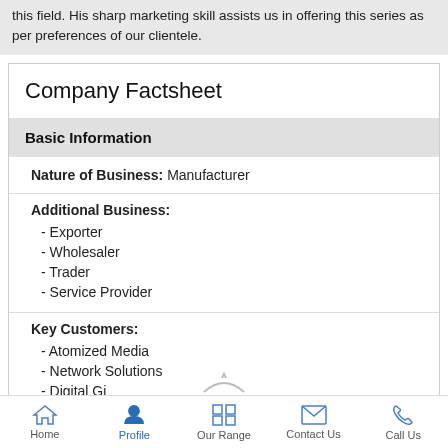this field. His sharp marketing skill assists us in offering this series as per preferences of our clientele.
Company Factsheet
Basic Information
| Nature of Business: | Manufacturer |
| Additional Business: | - Exporter
- Wholesaler
- Trader
- Service Provider |
| Key Customers: | - Atomized Media
- Network Solutions
- Digital... |
Home | Profile | Our Range | Contact Us | Call Us